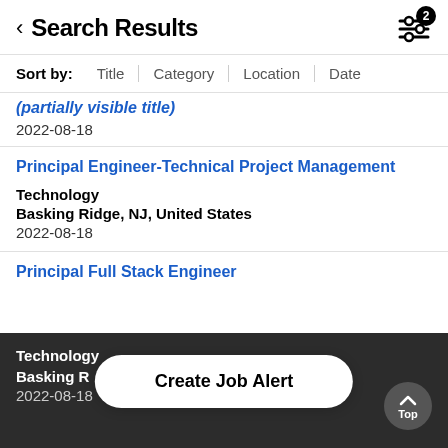Search Results
Sort by: Title | Category | Location | Date
2022-08-18
Principal Engineer-Technical Project Management
Technology
Basking Ridge, NJ, United States
2022-08-18
Principal Full Stack Engineer
Technology
Basking Ridge, NJ
2022-08-18
Create Job Alert